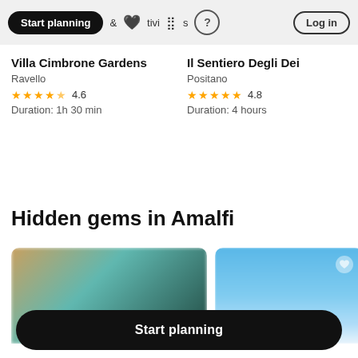Start planning | & activities | ? | Log in
Villa Cimbrone Gardens
Ravello
★★★★½ 4.6
Duration: 1h 30 min
Il Sentiero Degli Dei
Positano
★★★★★ 4.8
Duration: 4 hours
Hidden gems in Amalfi
[Figure (photo): Blurred image of colorful objects, possibly local crafts or food items]
[Figure (photo): Blue sky with clouds photo, partially visible]
Start planning